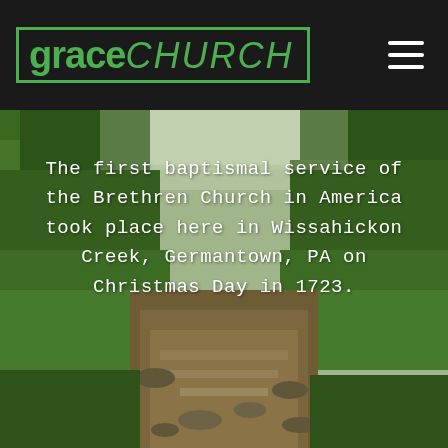grace CHURCH
[Figure (photo): A forest creek (Wissahickon Creek) with lush green trees on both sides, brownish water flowing through rocky stream bed, greenish tint to the photograph.]
The first baptismal service of the Brethren Church in America took place here in Wissahickon Creek, Germantown, PA on Christmas Day in 1723.